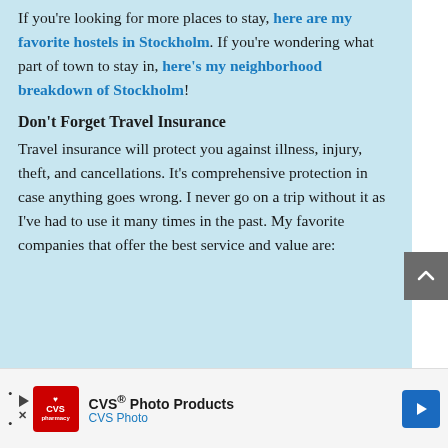If you're looking for more places to stay, here are my favorite hostels in Stockholm. If you're wondering what part of town to stay in, here's my neighborhood breakdown of Stockholm!
Don't Forget Travel Insurance
Travel insurance will protect you against illness, injury, theft, and cancellations. It's comprehensive protection in case anything goes wrong. I never go on a trip without it as I've had to use it many times in the past. My favorite companies that offer the best service and value are:
[Figure (other): CVS Photo Products advertisement banner with CVS pharmacy logo, play and close buttons, and a blue navigation arrow icon.]